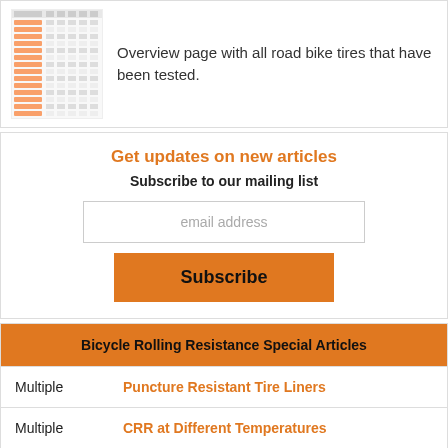[Figure (screenshot): Thumbnail of a table/spreadsheet showing road bike tire test data]
Overview page with all road bike tires that have been tested.
Get updates on new articles
Subscribe to our mailing list
email address
Subscribe
Bicycle Rolling Resistance Special Articles
Multiple   Puncture Resistant Tire Liners
Multiple   CRR at Different Temperatures
CX/Gravel   CX/Gravel Inner Tubes Vs Tubeless
Road Bike   GP 5000 S TR Hooked Vs Hookless